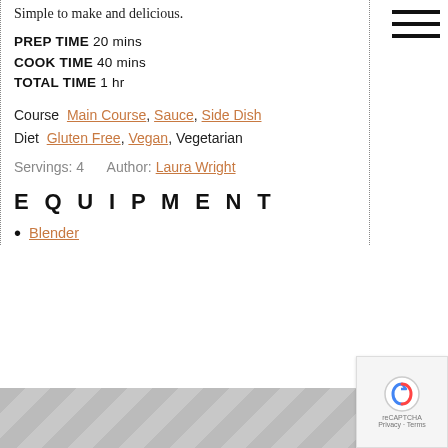Simple to make and delicious.
PREP TIME 20 mins
COOK TIME 40 mins
TOTAL TIME 1 hr
Course Main Course, Sauce, Side Dish
Diet Gluten Free, Vegan, Vegetarian
Servings: 4    Author: Laura Wright
EQUIPMENT
Blender